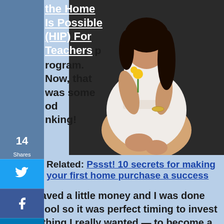the Home Is Possible (HIP) For Teachers program. Now, that was some good thinking!
[Figure (photo): A woman in a white lace dress sitting on a dark couch, holding a yellow flower]
Related: Pssst! 10 secrets for making your first home purchase a success
“I had saved a little money and I was done with school so it was perfect timing to invest in something I really wanted — to become a